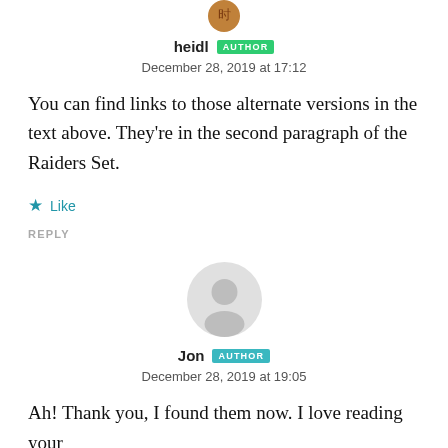[Figure (photo): Partial view of a circular avatar image (bottom portion cut off) with a brownish/reddish circular icon with a Chinese character]
heidl AUTHOR
December 28, 2019 at 17:12
You can find links to those alternate versions in the text above. They're in the second paragraph of the Raiders Set.
★ Like
REPLY
[Figure (illustration): Gray default user avatar — circular silhouette of a person]
Jon AUTHOR
December 28, 2019 at 19:05
Ah! Thank you, I found them now. I love reading your